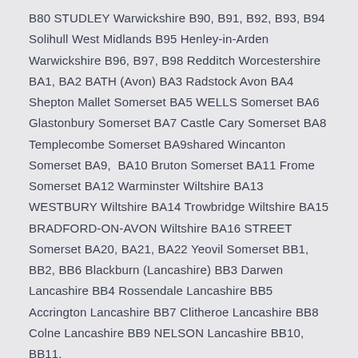B80 STUDLEY Warwickshire B90, B91, B92, B93, B94 Solihull West Midlands B95 Henley-in-Arden Warwickshire B96, B97, B98 Redditch Worcestershire BA1, BA2 BATH (Avon) BA3 Radstock Avon BA4 Shepton Mallet Somerset BA5 WELLS Somerset BA6 Glastonbury Somerset BA7 Castle Cary Somerset BA8 Templecombe Somerset BA9shared Wincanton Somerset BA9,  BA10 Bruton Somerset BA11 Frome Somerset BA12 Warminster Wiltshire BA13 WESTBURY Wiltshire BA14 Trowbridge Wiltshire BA15 BRADFORD-ON-AVON Wiltshire BA16 STREET Somerset BA20, BA21, BA22 Yeovil Somerset BB1, BB2, BB6 Blackburn (Lancashire) BB3 Darwen Lancashire BB4 Rossendale Lancashire BB5 Accrington Lancashire BB7 Clitheroe Lancashire BB8 Colne Lancashire BB9 NELSON Lancashire BB10, BB11,